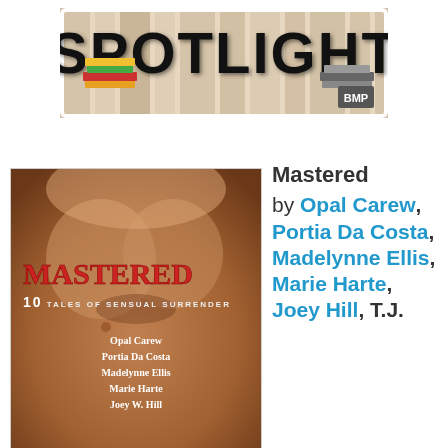[Figure (logo): SPOTLIGHT banner logo with striped background, stacked books, and BMP text]
[Figure (photo): Book cover of 'Mastered: 10 Tales of Sensual Surrender' showing a person's torso with authors listed: Opal Carew, Portia Da Costa, Madelynne Ellis, Marie Harte, Joey W. Hill]
Mastered by Opal Carew, Portia Da Costa, Madelynne Ellis, Marie Harte, Joey Hill, T.J. ...